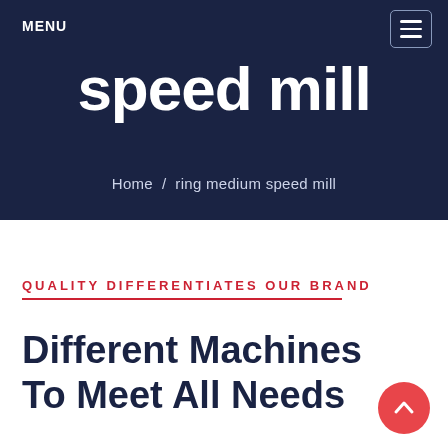MENU
speed mill
Home / ring medium speed mill
QUALITY DIFFERENTIATES OUR BRAND
Different Machines To Meet All Needs